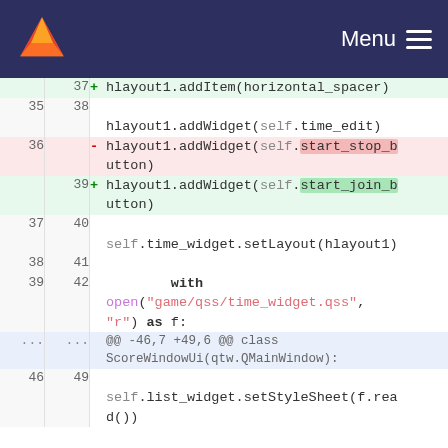GitLab Menu
[Figure (screenshot): Code diff view showing changes to a Python file. Lines 35-42 shown with old and new line numbers. A line adding hlayout1.addWidget(self.start_stop_button) is removed (line 36) and replaced with hlayout1.addWidget(self.start_join_button) (line 39). Context lines show hlayout1.addItem(horizontal_spacer), hlayout1.addWidget(self.time_edit), self.time_widget.setLayout(hlayout1), and a with open block. A hunk header shows @@ -46,7 +49,6 @@ class ScoreWindowUi(qtw.QMainWindow):. Line 46/49 shows self.list_widget.setStyleSheet(f.rea...]
@@ -46,7 +49,6 @@ class ScoreWindowUi(qtw.QMainWindow):